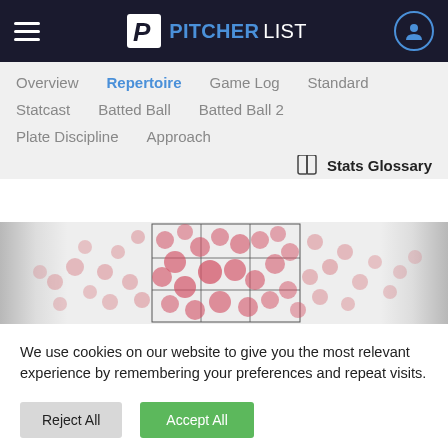PITCHERLIST
Overview
Repertoire
Game Log
Standard
Statcast
Batted Ball
Batted Ball 2
Plate Discipline
Approach
Stats Glossary
[Figure (scatter-plot): Baseball pitch location scatter plot showing pitch clusters in and around the strike zone, with pinkish-red dot markers on a light grey background with a 3x3 grid overlay representing the strike zone.]
We use cookies on our website to give you the most relevant experience by remembering your preferences and repeat visits.
Reject All
Accept All